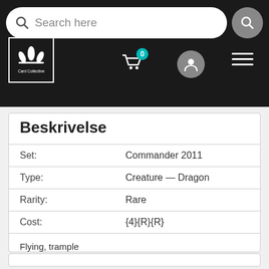Card Collective — Search here nav bar
Beskrivelse
| Field | Value |
| --- | --- |
| Set: | Commander 2011 |
| Type: | Creature — Dragon |
| Rarity: | Rare |
| Cost: | {4}{R}{R} |
Flying, trample
Join forces — Whenever Mana-Charged Dragon attacks or blocks, each player starting with you may pay any amount of mana. Mana-Charged Dragon gets +X/+0 until end of turn, where X is the total amount of mana paid this way.